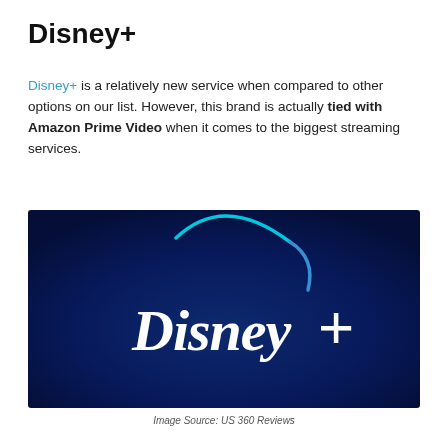Disney+
Disney+ is a relatively new service when compared to other options on our list. However, this brand is actually tied with Amazon Prime Video when it comes to the biggest streaming services.
[Figure (logo): Disney+ logo on a dark navy blue background with the stylized Disney+ wordmark in white and a blue/cyan arc above it.]
Image Source: US 360 Reviews